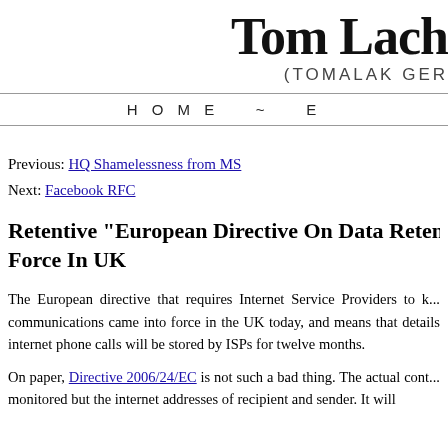Tom Lach (TOMALAK GER
H O M E  ~  ...
Previous: HQ Shamelessness from MS
Next: Facebook RFC
Retentive "European Directive On Data Retention" Con... Force In UK
The European directive that requires Internet Service Providers to ... communications came into force in the UK today, and means that details of internet phone calls will be stored by ISPs for twelve months.
On paper, Directive 2006/24/EC is not such a bad thing. The actual cont... monitored but the internet addresses of recipient and sender. It will...